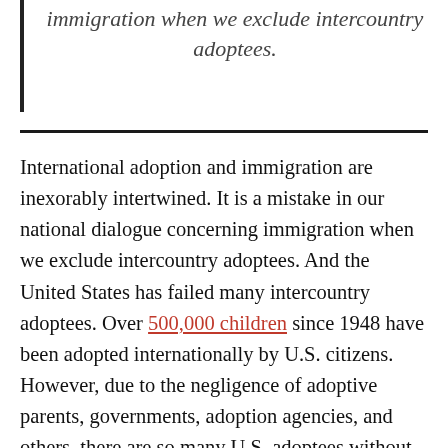immigration when we exclude intercountry adoptees.
International adoption and immigration are inexorably intertwined. It is a mistake in our national dialogue concerning immigration when we exclude intercountry adoptees. And the United States has failed many intercountry adoptees. Over 500,000 children since 1948 have been adopted internationally by U.S. citizens. However, due to the negligence of adoptive parents, governments, adoption agencies, and others, there are so many U.S. adoptees without citizenship today. And, the adoptee pays the price for that negligence.